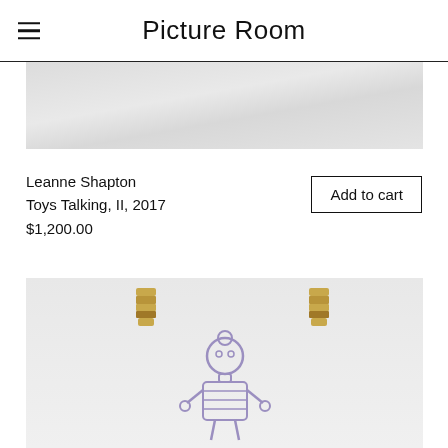Picture Room
[Figure (photo): Top portion of an artwork image, light gray tones, partially cropped]
Leanne Shapton
Toys Talking, II, 2017
$1,200.00
Add to cart
[Figure (photo): Artwork showing a purple/lavender line drawing of a toy robot or figure, clipped to a board with two gold binder clips]